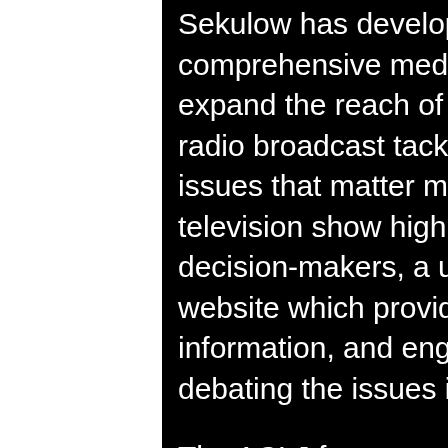Sekulow has developed a comprehensive media strategy to expand the reach of the ACLJ - a daily radio broadcast tackles the tough issues that matter most, a weekly television show highlighting key decision-makers, a user-friendly website which provides updated information, and engaging and debating the issues in the public arena.
The ACLJ focuses on constitutional and human rights law worldwide. Based in Washington, D.C., with affiliated offices in Israel, Kenya,
[Figure (photo): Sunset or dusk sky with orange and warm tones, silhouette of hills/mountains at the bottom right, clouds visible]